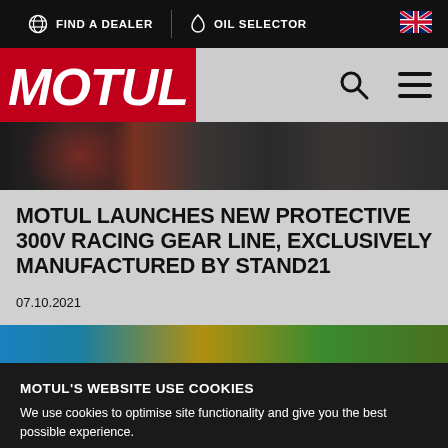FIND A DEALER | OIL SELECTOR
[Figure (screenshot): Motul website header with red logo area, search icon, and hamburger menu on grey background]
[Figure (photo): Blurry photo of racing gear/motorcycle paddock scene with dark tones and red accent]
MOTUL LAUNCHES NEW PROTECTIVE 300V RACING GEAR LINE, EXCLUSIVELY MANUFACTURED BY STAND21
07.10.2021
[Figure (photo): Partial colorful photo below article heading, showing blue, yellow and green tones]
MOTUL'S WEBSITE USE COOKIES
We use cookies to optimise site functionality and give you the best possible experience.
I ACCEPT
SETTINGS